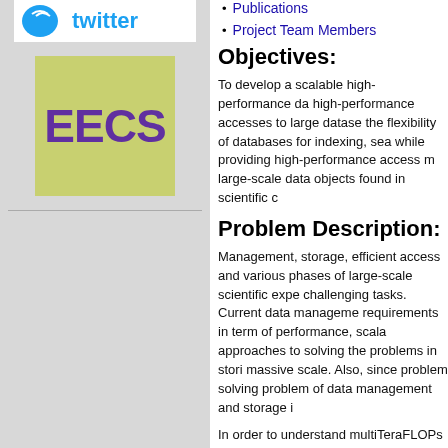[Figure (screenshot): Twitter logo/banner image]
[Figure (logo): EECS logo - green background with purple bold text 'EECS']
Publications
Project Team Members
Objectives:
To develop a scalable high-performance da... high-performance accesses to large datase... the flexibility of databases for indexing, sea... while providing high-performance access m... large-scale data objects found in scientific c...
Problem Description:
Management, storage, efficient access and... various phases of large-scale scientific expe... challenging tasks. Current data manageme... requirements in term of performance, scala... approaches to solving the problems in stori... massive scale. Also, since problem solving... problem of data management and storage i...
In order to understand multiTeraFLOPs clas... runs, track and catalog the data and meta d... runs and explore multivariate time-series da... applications. Especially, in order to perform...